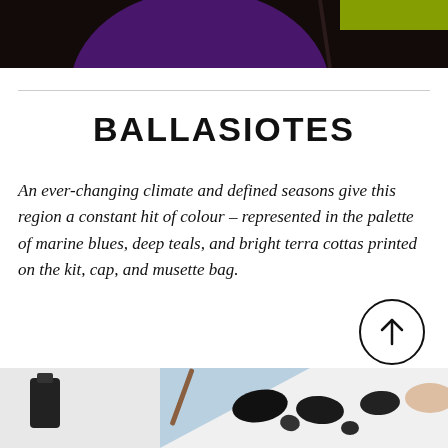[Figure (photo): Top portion of a cycling kit/jersey with dark background, purple circle shape and yellow-green accent color visible]
BALLASIOTES
An ever-changing climate and defined seasons give this region a constant hit of colour – represented in the palette of marine blues, deep teals, and bright terra cottas printed on the kit, cap, and musette bag.
[Figure (photo): A workspace showing cycling cap design work in progress, with black paint/ink shapes on light blue and white paper, paint brushes and ink bottles visible, and a hand painting mustache-like shapes]
[Figure (illustration): Circular scroll-to-top button with upward arrow, outline style]
[Figure (illustration): Dark circular chat/messaging button icon]